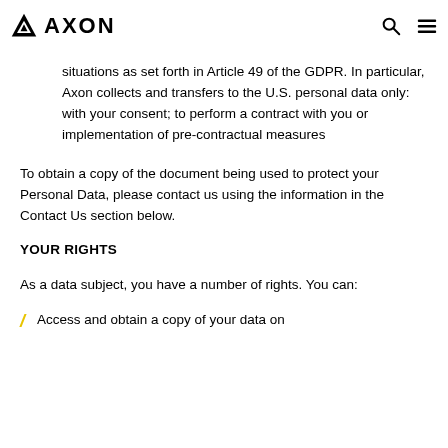AXON
situations as set forth in Article 49 of the GDPR. In particular, Axon collects and transfers to the U.S. personal data only: with your consent; to perform a contract with you or implementation of pre-contractual measures
To obtain a copy of the document being used to protect your Personal Data, please contact us using the information in the Contact Us section below.
YOUR RIGHTS
As a data subject, you have a number of rights. You can:
Access and obtain a copy of your data on